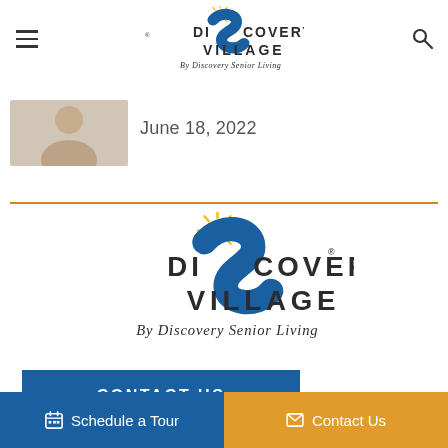Discovery Village By Discovery Senior Living — navigation header with hamburger menu and search icon
[Figure (logo): Discovery Village By Discovery Senior Living logo in header]
[Figure (photo): Small thumbnail photo of a person, likely elderly]
June 18, 2022
[Figure (logo): Discovery Village By Discovery Senior Living large footer logo]
CONTACT US
Schedule a Tour
Contact Us